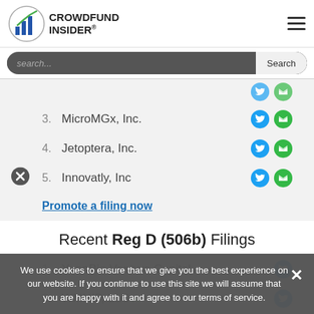[Figure (logo): Crowdfund Insider logo with chart icon and text]
[Figure (screenshot): Search bar with placeholder text 'search...' and Search button]
3. MicroMGx, Inc.
4. Jetoptera, Inc.
5. Innovatly, Inc
Promote a filing now
Recent Reg D (506b) Filings
1. YuanBio Venture Capital ...
2. WMHIP, LLC
3. NJOY HOLDINGS, INC.
We use cookies to ensure that we give you the best experience on our website. If you continue to use this site we will assume that you are happy with it and agree to our terms of service.